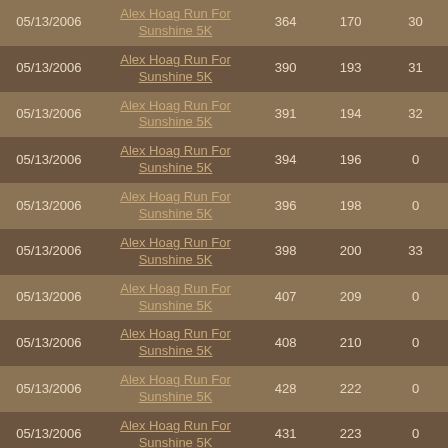| Date | Race | Col3 | Col4 | Col5 |
| --- | --- | --- | --- | --- |
| 05/13/2006 | Alex Hoag Run For Sunshine 5K | 364 | 170 | 30 |
| 05/13/2006 | Alex Hoag Run For Sunshine 5K | 390 | 193 | 31 |
| 05/13/2006 | Alex Hoag Run For Sunshine 5K | 391 | 194 | 32 |
| 05/13/2006 | Alex Hoag Run For Sunshine 5K | 394 | 196 | 0 |
| 05/13/2006 | Alex Hoag Run For Sunshine 5K | 396 | 198 | 0 |
| 05/13/2006 | Alex Hoag Run For Sunshine 5K | 398 | 200 | 33 |
| 05/13/2006 | Alex Hoag Run For Sunshine 5K | 407 | 209 | 0 |
| 05/13/2006 | Alex Hoag Run For Sunshine 5K | 408 | 210 | 0 |
| 05/13/2006 | Alex Hoag Run For Sunshine 5K | 428 | 222 | 0 |
| 05/13/2006 | Alex Hoag Run For Sunshine 5K | 431 | 223 | 0 |
| 05/13/2006 | Alex Hoag Run For Sunshine 5K | 437 | 228 | 0 |
| 05/13/2006 | Alex Hoag Run For Sunshine 5K | 445 | 236 | 0 |
| 05/13/2006 | Alex Hoag Run For Sunshine 5K | 446 | 237 | 0 |